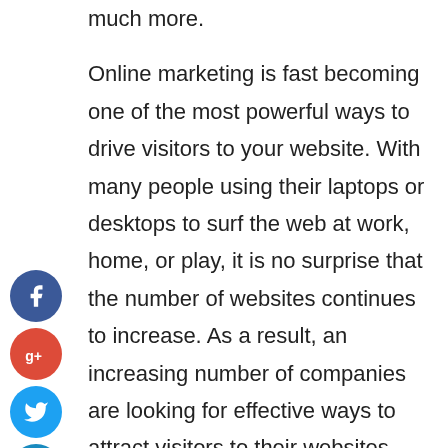much more.
Online marketing is fast becoming one of the most powerful ways to drive visitors to your website. With many people using their laptops or desktops to surf the web at work, home, or play, it is no surprise that the number of websites continues to increase. As a result, an increasing number of companies are looking for effective ways to attract visitors to their websites.
Social media marketing has exploded over the past several years. In particular, social media marketing allows businesses to reach out to millions of people who share the same
[Figure (infographic): Social media sharing buttons: Facebook (blue circle with f), Google+ (red circle with g+), Twitter (light blue circle with bird), and a plus/add button (dark blue circle with +)]